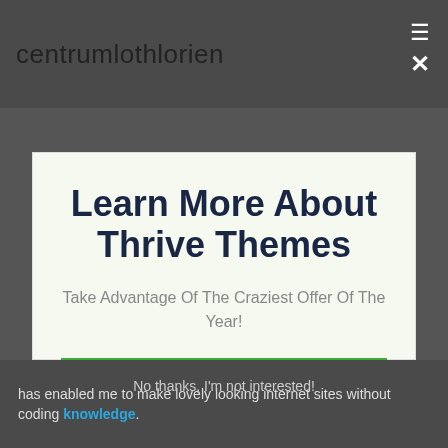centrumlothlorien
Learn More About Thrive Themes
Take Advantage Of The Craziest Offer Of The Year!
CHECK OUT THE OFFICIAL THRIVE SITE HERE
has enabled me to make lovely looking internet sites without coding knowledge.
No thanks, I'm not interested!